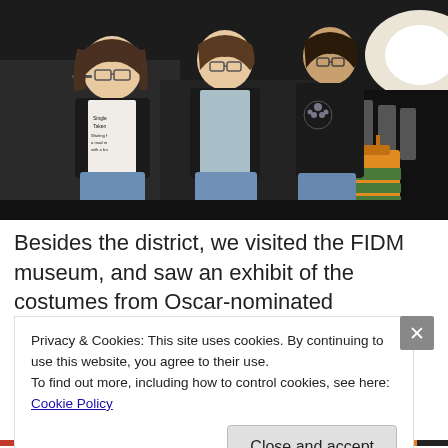[Figure (photo): Three women sitting inside a stretch limousine, smiling at the camera. The woman on the left wears a t-shirt reading 'Single Taken Waiting for a mad man with a box'. Shopping bags and glassware visible in the background.]
Besides the district, we visited the FIDM museum, and saw an exhibit of the costumes from Oscar-nominated
Privacy & Cookies: This site uses cookies. By continuing to use this website, you agree to their use.
To find out more, including how to control cookies, see here: Cookie Policy
Close and accept